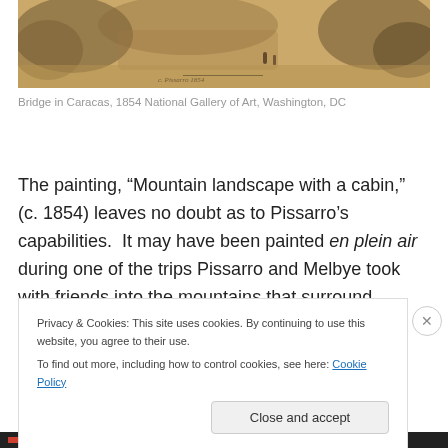[Figure (illustration): Watercolor painting of a bridge in Caracas, showing rocky landscape with warm ochre and brown tones, figures near water, loose sketchy style]
Bridge in Caracas, 1854 National Gallery of Art, Washington, DC
The painting, “Mountain landscape with a cabin,” (c. 1854) leaves no doubt as to Pissarro’s capabilities.  It may have been painted en plein air during one of the trips Pissarro and Melbye took with friends into the mountains that surround Caracas.
Privacy & Cookies: This site uses cookies. By continuing to use this website, you agree to their use.
To find out more, including how to control cookies, see here: Cookie Policy